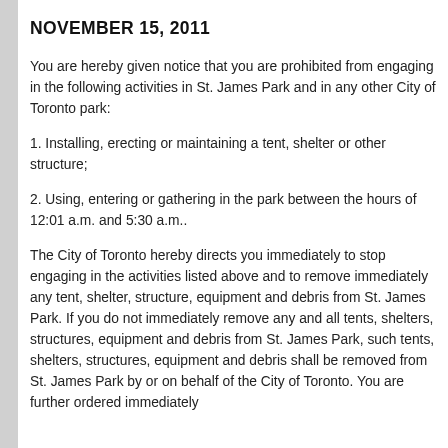NOVEMBER 15, 2011
You are hereby given notice that you are prohibited from engaging in the following activities in St. James Park and in any other City of Toronto park:
1. Installing, erecting or maintaining a tent, shelter or other structure;
2. Using, entering or gathering in the park between the hours of 12:01 a.m. and 5:30 a.m..
The City of Toronto hereby directs you immediately to stop engaging in the activities listed above and to remove immediately any tent, shelter, structure, equipment and debris from St. James Park. If you do not immediately remove any and all tents, shelters, structures, equipment and debris from St. James Park, such tents, shelters, structures, equipment and debris shall be removed from St. James Park by or on behalf of the City of Toronto. You are further ordered immediately